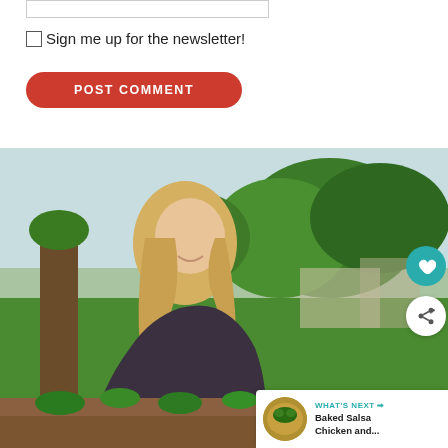[Figure (other): Empty input text box at the top of a comment form]
☐Sign me up for the newsletter!
POST COMMENT
[Figure (photo): A smiling blonde woman in a dark top leaning over a wooden raised garden bed outdoors, with green lawn and trees in the background. Floating UI elements include a teal heart button, a share button, and a 'What's Next' bar showing Baked Salsa Chicken recipe.]